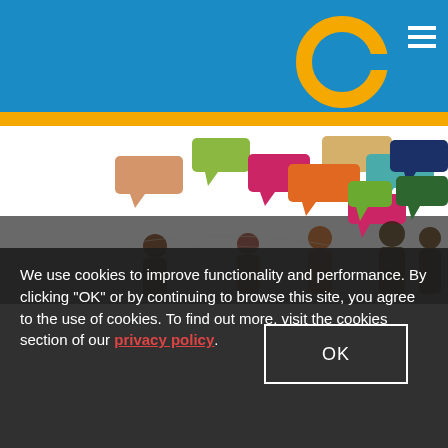[Figure (logo): Circular logo mark in gold/orange on blue header bar, with hamburger menu icon in top right]
[Figure (illustration): Colorful speech bubbles in various colors (orange, green, pink, teal, navy, dark green) floating above silhouettes of people on a dark background]
We use cookies to improve functionality and performance. By clicking "OK" or by continuing to browse this site, you agree to the use of cookies. To find out more, visit the cookies section of our privacy policy.